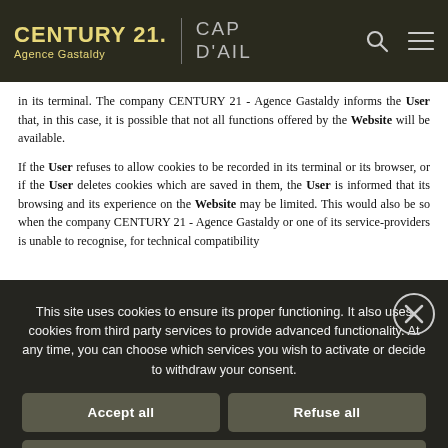CENTURY 21. Agence Gastaldy | CAP D'AIL
in its terminal. The company CENTURY 21 - Agence Gastaldy informs the User that, in this case, it is possible that not all functions offered by the Website will be available.
If the User refuses to allow cookies to be recorded in its terminal or its browser, or if the User deletes cookies which are saved in them, the User is informed that its browsing and its experience on the Website may be limited. This would also be so when the company CENTURY 21 - Agence Gastaldy or one of its service-providers is unable to recognise, for technical compatibility [obscured text continues]
This site uses cookies to ensure its proper functioning. It also uses cookies from third party services to provide advanced functionality. At any time, you can choose which services you wish to activate or decide to withdraw your consent.
Accept all | Refuse all | Manage